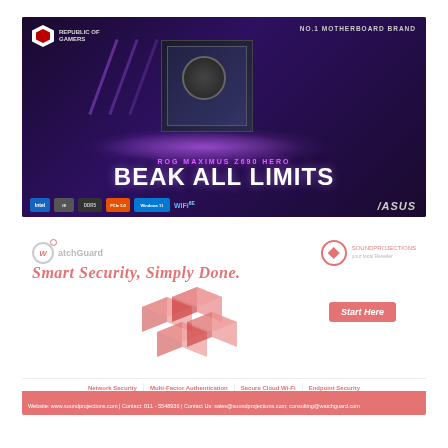[Figure (advertisement): ASUS ROG MAXIMUS Z690 HERO motherboard advertisement with purple/dark background, motherboard on glowing platform, text 'BEAK ALL LIMITS', ROG REPUBLIC OF GAMERS logo top left, NO.1 MOTHERBOARD BRAND top right, ASUS logo bottom right, feature icons at bottom including DDR5, PCIe 5.0, Windows 11, WiFi 6E]
[Figure (advertisement): WatchGuard advertisement with light pink/salmon color scheme showing 'Smart Security, Simply Done.' tagline, 3D cube security icons, Start Here button, categories: Network Security, Multi-Factor Authentication, Secure Cloud Wi-Fi, Endpoint Security, SoundProjections logo top right, website and contact info at bottom in red banner]